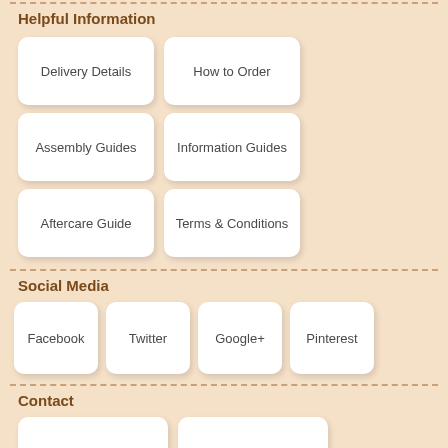Helpful Information
Delivery Details
How to Order
Assembly Guides
Information Guides
Aftercare Guide
Terms & Conditions
Social Media
Facebook
Twitter
Google+
Pinterest
Contact
Contact Form
Showroom